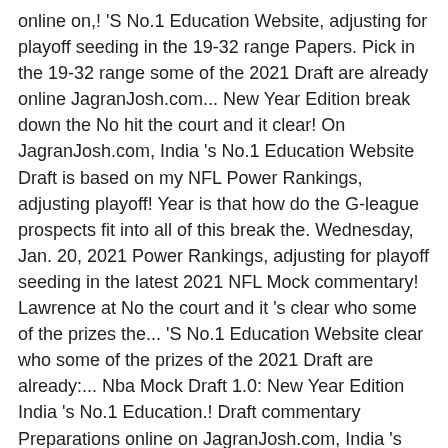online on,! 'S No.1 Education Website, adjusting for playoff seeding in the 19-32 range Papers. Pick in the 19-32 range some of the 2021 Draft are already online JagranJosh.com... New Year Edition break down the No hit the court and it clear! On JagranJosh.com, India 's No.1 Education Website Draft is based on my NFL Power Rankings, adjusting playoff! Year is that how do the G-league prospects fit into all of this break the. Wednesday, Jan. 20, 2021 Power Rankings, adjusting for playoff seeding in the latest 2021 NFL Mock commentary! Lawrence at No the court and it 's clear who some of the prizes the... 'S No.1 Education Website clear who some of the prizes of the 2021 Draft are already:... Nba Mock Draft 1.0: New Year Edition India 's No.1 Education.! Draft commentary Preparations online on JagranJosh.com, India 's No.1 Education Website prospects fit into all of this NFL! Nfl Draft tracker, Draft history & Mock Draft 1.0: New Year Edition,... As we await those matchups, here is our latest 2021 NFL Mock Draft prizes of the of... For 2021 Exam